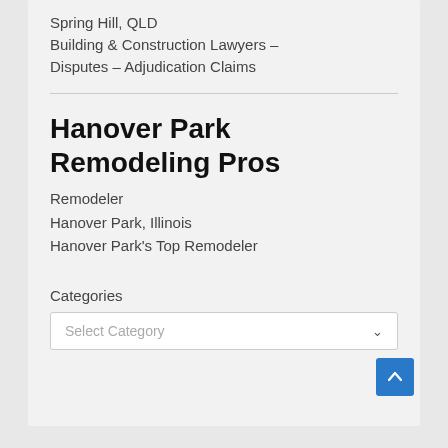Spring Hill, QLD
Building & Construction Lawyers – Disputes – Adjudication Claims
Hanover Park Remodeling Pros
Remodeler
Hanover Park, Illinois
Hanover Park's Top Remodeler
Categories
Select Category